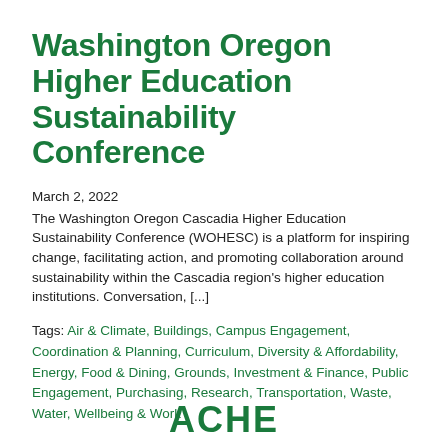Washington Oregon Higher Education Sustainability Conference
March 2, 2022
The Washington Oregon Cascadia Higher Education Sustainability Conference (WOHESC) is a platform for inspiring change, facilitating action, and promoting collaboration around sustainability within the Cascadia region's higher education institutions. Conversation, [...]
Tags: Air & Climate, Buildings, Campus Engagement, Coordination & Planning, Curriculum, Diversity & Affordability, Energy, Food & Dining, Grounds, Investment & Finance, Public Engagement, Purchasing, Research, Transportation, Waste, Water, Wellbeing & Work